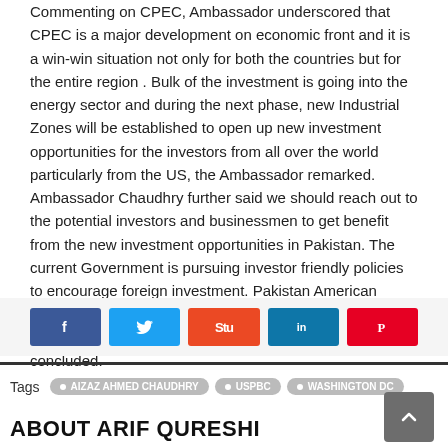Commenting on CPEC, Ambassador underscored that CPEC is a major development on economic front and it is a win-win situation not only for both the countries but for the entire region . Bulk of the investment is going into the energy sector and during the next phase, new Industrial Zones will be established to open up new investment opportunities for the investors from all over the world particularly from the US, the Ambassador remarked. Ambassador Chaudhry further said we should reach out to the potential investors and businessmen to get benefit from the new investment opportunities in Pakistan. The current Government is pursuing investor friendly policies to encourage foreign investment. Pakistan American Diaspora can play a very significant role in strengthening Pakistan-US economic and trade ties, Ambassador concluded.
[Figure (other): Social media sharing buttons: Facebook, Twitter, StumbleUpon, LinkedIn, Pinterest]
Tags  • AIZAZ AHMED CHAUDHRY  • USPBC  • WASHINGTON DC
ABOUT ARIF QURESHI